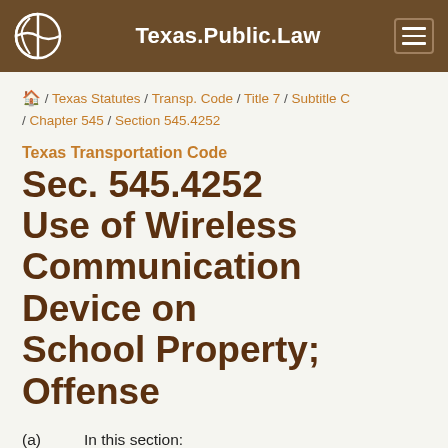Texas.Public.Law
🏠 / Texas Statutes / Transp. Code / Title 7 / Subtitle C / Chapter 545 / Section 545.4252
Texas Transportation Code
Sec. 545.4252 Use of Wireless Communication Device on School Property; Offense
(a) In this section:
(1) "Hands-free device" has the meaning assigned by Section 545.425 (Use of